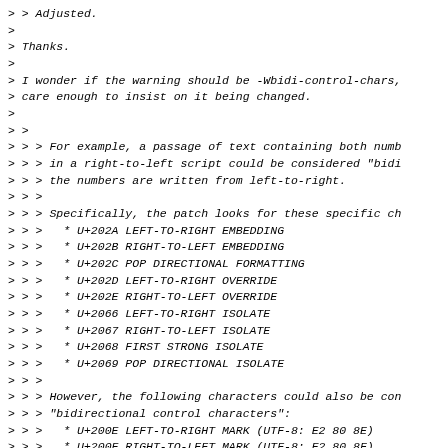> > Adjusted.
>
> Thanks.
>
> I wonder if the warning should be -Wbidi-control-chars,
> care enough to insist on it being changed.
>
> >
> > > For example, a passage of text containing both numb
> > > in a right-to-left script could be considered "bidi
> > > the numbers are written from left-to-right.
> > >
> > > Specifically, the patch looks for these specific ch
> > >   * U+202A LEFT-TO-RIGHT EMBEDDING
> > >   * U+202B RIGHT-TO-LEFT EMBEDDING
> > >   * U+202C POP DIRECTIONAL FORMATTING
> > >   * U+202D LEFT-TO-RIGHT OVERRIDE
> > >   * U+202E RIGHT-TO-LEFT OVERRIDE
> > >   * U+2066 LEFT-TO-RIGHT ISOLATE
> > >   * U+2067 RIGHT-TO-LEFT ISOLATE
> > >   * U+2068 FIRST STRONG ISOLATE
> > >   * U+2069 POP DIRECTIONAL ISOLATE
> > >
> > > However, the following characters could also be con
> > > "bidirectional control characters":
> > >   * U+200E LEFT-TO-RIGHT MARK (UTF-8: E2 80 8E)
> > >   * U+200F RIGHT-TO-LEFT MARK (UTF-8: E2 80 8F)
> > > but aren't checked for in the patch.  Should they b
> > > ways in which they could be abused, so I think so.
> >